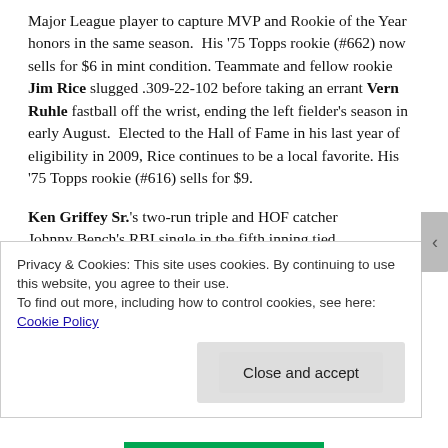Major League player to capture MVP and Rookie of the Year honors in the same season.  His '75 Topps rookie (#662) now sells for $6 in mint condition.  Teammate and fellow rookie Jim Rice slugged .309-22-102 before taking an errant Vern Ruhle fastball off the wrist, ending the left fielder's season in early August.  Elected to the Hall of Fame in his last year of eligibility in 2009, Rice continues to be a local favorite. His '75 Topps rookie (#616) sells for $9.
Ken Griffey Sr.'s two-run triple and HOF catcher Johnny Bench's RBI single in the fifth inning tied
Privacy & Cookies: This site uses cookies. By continuing to use this website, you agree to their use.
To find out more, including how to control cookies, see here:
Cookie Policy